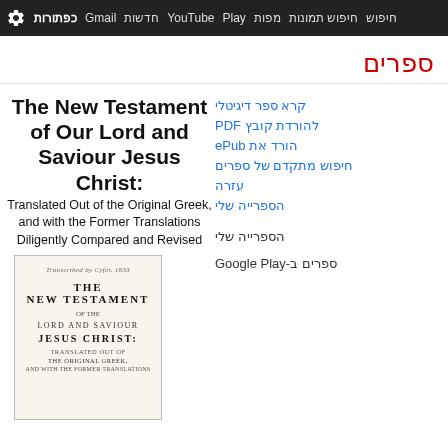חיפוש חיפוש תמונות מפות Play YouTube חדשות Gmail כפתורות
ספרים
The New Testament of Our Lord and Saviour Jesus Christ: Translated Out of the Original Greek, and with the Former Translations Diligently Compared and Revised
קרא ספר דיגיטלי
להורדת קובץ PDF
הורד את ePub
חיפוש מתקדם של ספרים
עזרה
הספרייה שלי
הספרייה שלי
ספרים ב-Google Play
[Figure (photo): Book cover of The New Testament showing title page with text: THE NEW TESTAMENT OF THE LORD AND SAVIOUR JESUS CHRIST: TRANSLATED OUT OF THE ORIGINAL GREEK, AND WITH THE FORMER TRANSLATIONS]